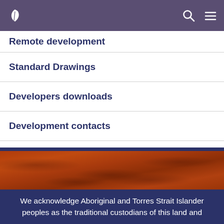Remote development | Standard Drawings | Developers downloads | Development contacts
Remote development
Standard Drawings
Developers downloads
Development contacts
We acknowledge Aboriginal and Torres Strait Islander peoples as the traditional custodians of this land and